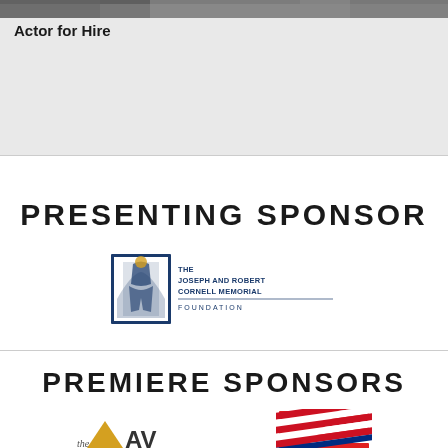[Figure (photo): Cropped photo strip at top of page showing partial image of people]
Actor for Hire
PRESENTING SPONSOR
[Figure (logo): The Joseph and Robert Cornell Memorial Foundation logo — blue square frame with silhouette figure, blue text reading THE JOSEPH AND ROBERT CORNELL MEMORIAL FOUNDATION]
PREMIERE SPONSORS
[Figure (logo): the AV company logo — gold triangle accent with stylized text]
[Figure (logo): Bank of America logo — red, white, and blue diagonal stripes flag design]